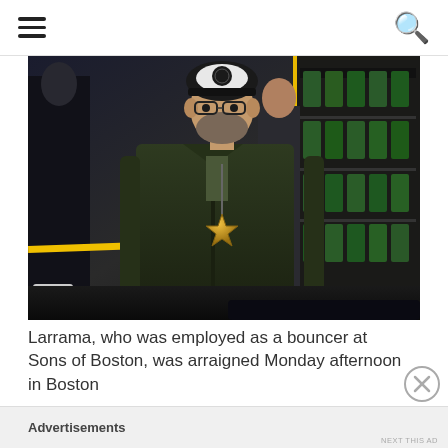[Figure (photo): A detective or law enforcement officer wearing a dark jacket, badge on a lanyard, and a black and white trucker cap, standing at what appears to be a crime scene with yellow police tape visible. Background shows store shelves and other figures.]
Larrama, who was employed as a bouncer at Sons of Boston, was arraigned Monday afternoon in Boston
Advertisements